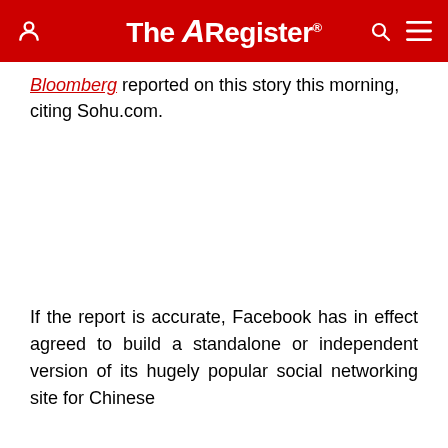The Register
Bloomberg reported on this story this morning, citing Sohu.com.
If the report is accurate, Facebook has in effect agreed to build a standalone or independent version of its hugely popular social networking site for Chinese